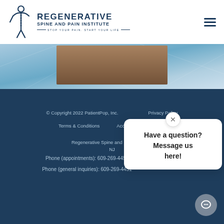[Figure (logo): Regenerative Spine and Pain Institute logo with spinal figure icon]
[Figure (photo): Blue abstract medical/tech background banner with a brownish rectangular image in the center]
© Copyright 2022 PatientPop, Inc.    Privacy Policy
Terms & Conditions    Accessibility Statement
Regenerative Spine and Pain Institute, NJ
Phone (appointments): 609-269-4451
Phone (general inquiries): 609-269-4451